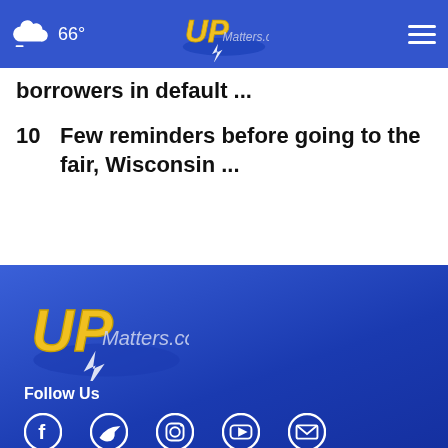66° UPMatters.com
borrowers in default ...
10  Few reminders before going to the fair, Wisconsin ...
[Figure (logo): UPMatters.com logo in footer]
Follow Us
[Figure (infographic): Social media icons: Facebook, Twitter, Instagram, YouTube, Email]